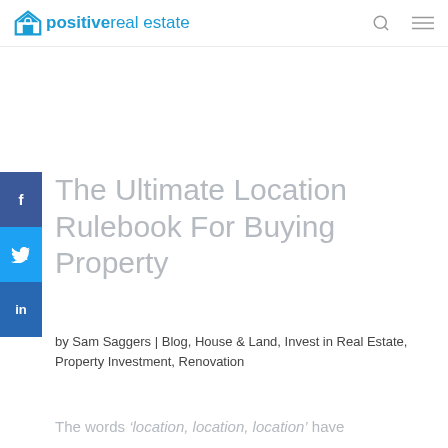positive real estate
The Ultimate Location Rulebook For Buying Property
by Sam Saggers | Blog, House & Land, Invest in Real Estate, Property Investment, Renovation
The words ‘location, location, location’ have